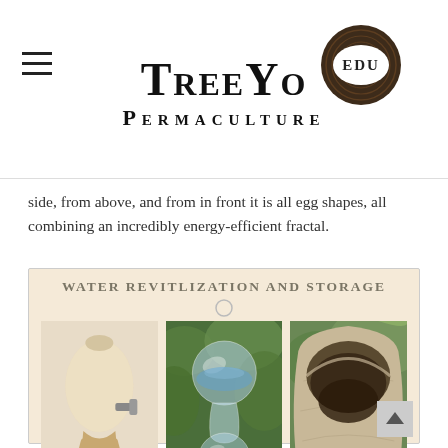TreeYo Permaculture EDU
side, from above, and from in front it is all egg shapes, all combining an incredibly energy-efficient fractal.
[Figure (infographic): Water revitalization and storage infographic with three photos: an egg-shaped ceramic water dispenser on a wooden stand with spigot, a glass orb water vessel showing reflection, and a large hollowed-out stone bowl. Title reads WATER REVITLIZATION AND STORAGE.]